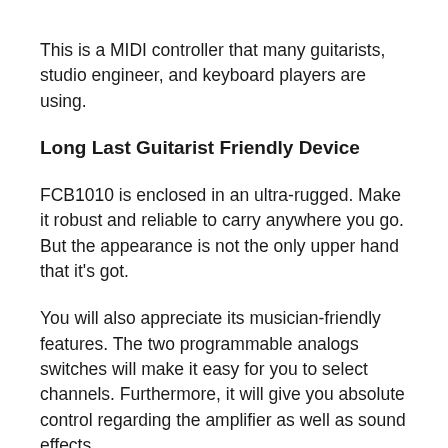This is a MIDI controller that many guitarists, studio engineer, and keyboard players are using.
Long Last Guitarist Friendly Device
FCB1010 is enclosed in an ultra-rugged. Make it robust and reliable to carry anywhere you go. But the appearance is not the only upper hand that it's got.
You will also appreciate its musician-friendly features. The two programmable analogs switches will make it easy for you to select channels. Furthermore, it will give you absolute control regarding the amplifier as well as sound effects.